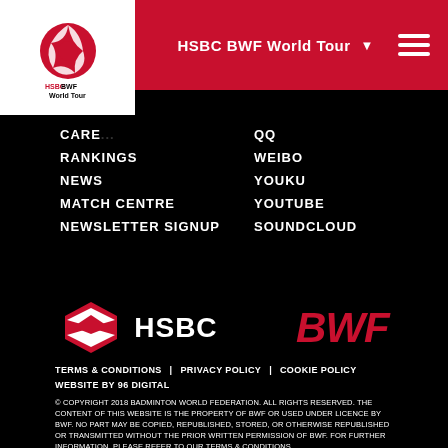HSBC BWF World Tour
[Figure (logo): HSBC BWF World Tour logo - red circular logo with HSBC BWF World Tour text on white background]
CAREER
QQ
RANKINGS
WEIBO
NEWS
YOUKU
MATCH CENTRE
YOUTUBE
NEWSLETTER SIGNUP
SOUNDCLOUD
[Figure (logo): HSBC logo - red hexagon diamond symbol with HSBC text in white]
[Figure (logo): BWF logo - red italic bold text]
TERMS & CONDITIONS | PRIVACY POLICY | COOKIE POLICY
WEBSITE BY 96 DIGITAL
© COPYRIGHT 2018 BADMINTON WORLD FEDERATION. ALL RIGHTS RESERVED. THE CONTENT OF THIS WEBSITE IS THE PROPERTY OF BWF OR USED UNDER LICENCE BY BWF. NO PART MAY BE COPIED, REPUBLISHED, STORED, OR OTHERWISE REPUBLISHED OR TRANSMITTED WITHOUT THE PRIOR WRITTEN PERMISSION OF BWF. FOR FURTHER INFORMATION, PLEASE REFER TO OUR TERMS & CONDITIONS.